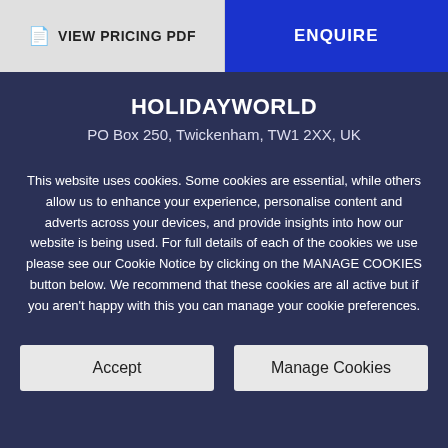VIEW PRICING PDF
ENQUIRE
HOLIDAYWORLD
PO Box 250, Twickenham, TW1 2XX, UK
This website uses cookies. Some cookies are essential, while others allow us to enhance your experience, personalise content and adverts across your devices, and provide insights into how our website is being used. For full details of each of the cookies we use please see our Cookie Notice by clicking on the MANAGE COOKIES button below. We recommend that these cookies are all active but if you aren't happy with this you can manage your cookie preferences.
Accept
Manage Cookies